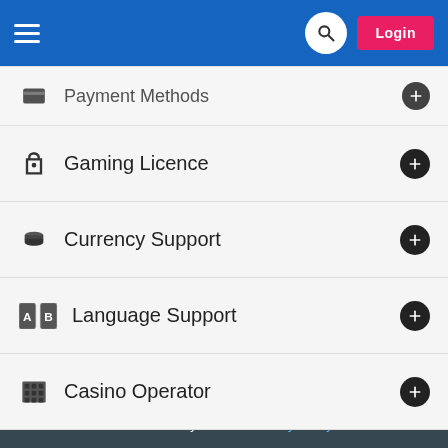Navigation bar with hamburger menu, search button, and Login button
Payment Methods
Gaming Licence
Currency Support
Language Support
Casino Operator
[Figure (screenshot): Red and black colored image/banner area below the menu]
We use cookies to ensure you have the best possible user experience. View our Privacy Policy for more information on how we handle your data. Privacy Policy